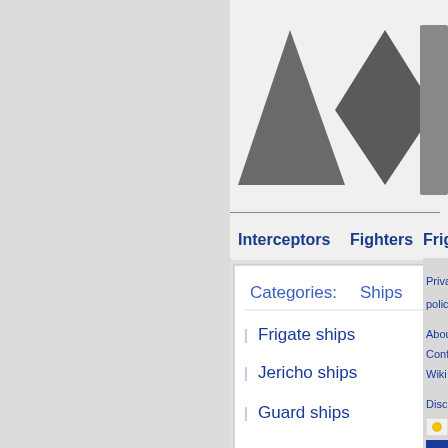[Figure (screenshot): Screenshot of a wiki-style webpage showing ship category navigation. Contains shape icons (triangle for Interceptors, diamond for Fighters, rectangle for Frigates), a dropdown menu showing Categories: Ships with links to Frigate ships, Jericho ships, Guard ships, and partial right sidebar with privacy policy, about, configure, wiki, disclaimer links and badges.]